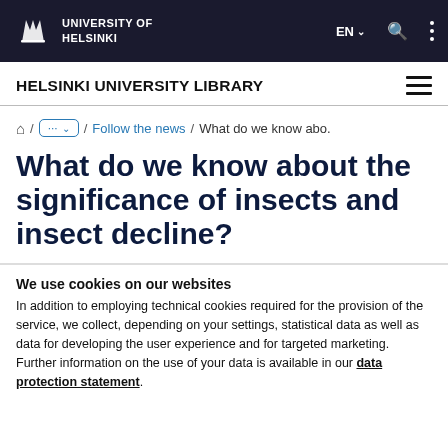UNIVERSITY OF HELSINKI
HELSINKI UNIVERSITY LIBRARY
⌂ / ··· / Follow the news / What do we know abo.
What do we know about the significance of insects and insect decline?
We use cookies on our websites
In addition to employing technical cookies required for the provision of the service, we collect, depending on your settings, statistical data as well as data for developing the user experience and for targeted marketing. Further information on the use of your data is available in our data protection statement.